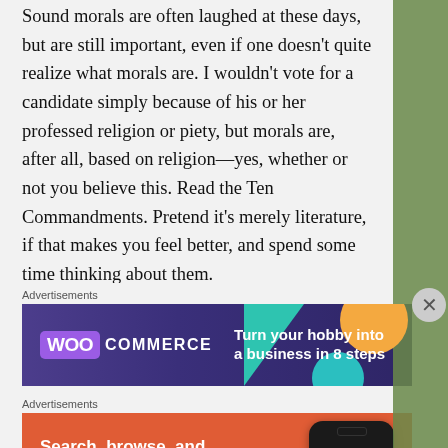Sound morals are often laughed at these days, but are still important, even if one doesn't quite realize what morals are. I wouldn't vote for a candidate simply because of his or her professed religion or piety, but morals are, after all, based on religion—yes, whether or not you believe this. Read the Ten Commandments. Pretend it's merely literature, if that makes you feel better, and spend some time thinking about them.
Advertisements
[Figure (other): WooCommerce advertisement banner: purple/dark blue gradient background with teal triangle and orange circle shapes. WooCommerce logo on left, text 'Turn your hobby into a business in 8 steps' on right.]
Advertisements
[Figure (other): DuckDuckGo advertisement banner: orange background. Text 'Search, browse, and email with more privacy.' with 'All in One Free App' button. Phone mockup with DuckDuckGo logo on right.]